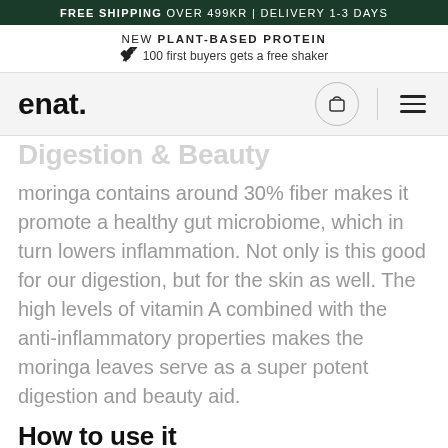FREE SHIPPING OVER 499KR | DELIVERY 1-3 DAYS
NEW PLANT-BASED PROTEIN
🖊 100 first buyers gets a free shaker
enat.
moringa contains around 30% fiber makes it promote a healthy gut microbiome, which in turn lowers inflammation. Not only is this good for our digestion, but for the skin as well. The high levels of vitamin A combined with the anti-inflammatory properties makes the moringa leaves serve as a super potent digestion and beauty aid.
How to use it